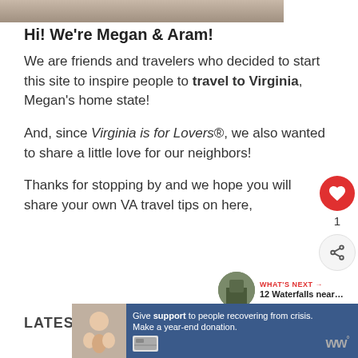[Figure (photo): Partial photo strip showing people at the top of the page]
Hi! We're Megan & Aram!
We are friends and travelers who decided to start this site to inspire people to travel to Virginia, Megan's home state!
And, since Virginia is for Lovers®, we also wanted to share a little love for our neighbors!
Thanks for stopping by and we hope you will share your own VA travel tips on here,
LATEST POSTS
[Figure (photo): Advertisement banner: Give support to people recovering from crisis. Make a year-end donation.]